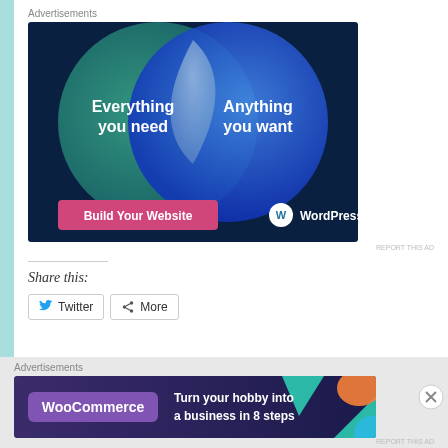Advertisements
[Figure (illustration): WordPress.com advertisement banner featuring a Venn diagram with two overlapping circles. Left circle (teal/green): 'Everything you need'. Right circle (blue): 'Anything you want'. Overlapping area is light/white. Bottom left has a pink button 'Build Your Website' and bottom right shows WordPress.com logo.]
REPORT THIS AD
Share this:
Twitter
More
Advertisements
[Figure (illustration): WooCommerce advertisement banner with dark purple/navy background, geometric colored shapes (teal triangle, orange shape, blue circle), WooCommerce logo on left, text: 'Turn your hobby into a business in 8 steps']
REPORT THIS AD